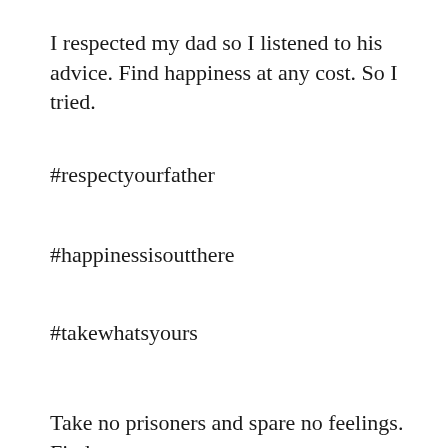I respected my dad so I listened to his advice. Find happiness at any cost. So I tried.
#respectyourfather
#happinessisoutthere
#takewhatsyours
Take no prisoners and spare no feelings. Find